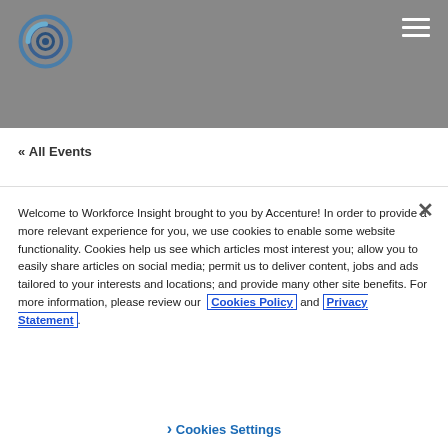[Figure (logo): Workforce Insight / Accenture circular logo in blue and grey]
« All Events
Welcome to Workforce Insight brought to you by Accenture! In order to provide a more relevant experience for you, we use cookies to enable some website functionality. Cookies help us see which articles most interest you; allow you to easily share articles on social media; permit us to deliver content, jobs and ads tailored to your interests and locations; and provide many other site benefits. For more information, please review our Cookies Policy and Privacy Statement.
Cookies Settings